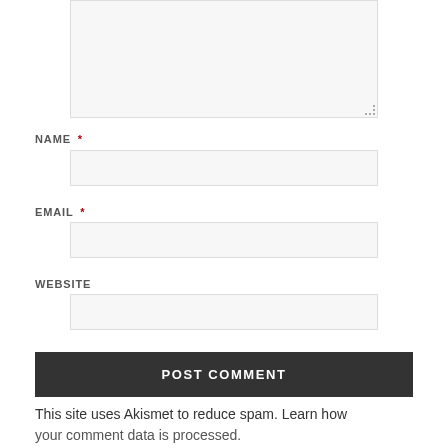[Figure (screenshot): A comment form textarea (empty, grayed background) with a resize handle at bottom-right]
NAME *
[Figure (screenshot): Name text input field (empty, grayed background)]
EMAIL *
[Figure (screenshot): Email text input field (empty, grayed background)]
WEBSITE
[Figure (screenshot): Website text input field (empty, grayed background)]
POST COMMENT
This site uses Akismet to reduce spam. Learn how your comment data is processed.